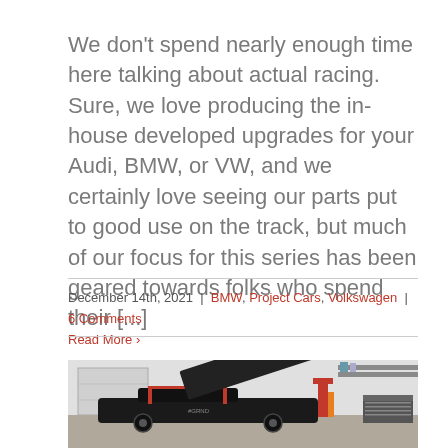We don't spend nearly enough time here talking about actual racing. Sure, we love producing the in-house developed upgrades for your Audi, BMW, or VW, and we certainly love seeing our parts put to good use on the track, but much of our focus for this series has been geared towards folks who spend their [...]
December 14th, 2021 | BMW, Project Cars, Volkswagen | 6 Comments Read More ›
[Figure (photo): A black race car with hood open in a garage/workshop setting, with red roll cage visible and various tools and equipment in the background.]